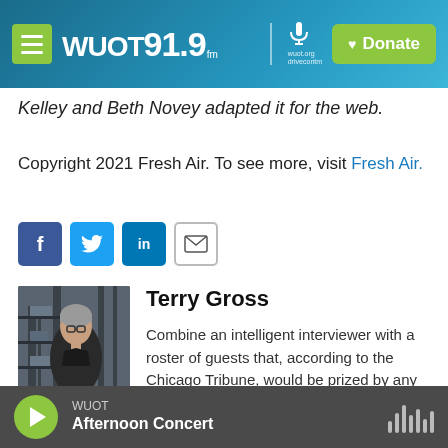WUOT 91.9 FM | wuot.org · drivecontm | Donate
Kelley and Beth Novey adapted it for the web.
Copyright 2021 Fresh Air. To see more, visit Fresh Air.
[Figure (other): Social sharing buttons: Facebook, Twitter, LinkedIn, Email]
[Figure (photo): Photo of Terry Gross standing in a hallway with shelving in the background, wearing a dark jacket]
Terry Gross
Combine an intelligent interviewer with a roster of guests that, according to the Chicago Tribune, would be prized by any
WUOT Afternoon Concert